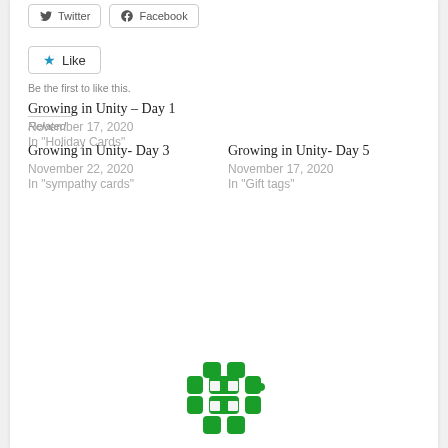[Figure (other): Twitter and Facebook share buttons]
[Figure (other): Like button with star icon]
Be the first to like this.
Related
Growing in Unity- Day 3
November 22, 2020
In "sympathy cards"
Growing in Unity- Day 5
November 17, 2020
In "Gift tags"
Growing in Unity – Day 1
November 17, 2020
In "Holiday Cards"
[Figure (logo): Green puzzle-piece hashtag logo]